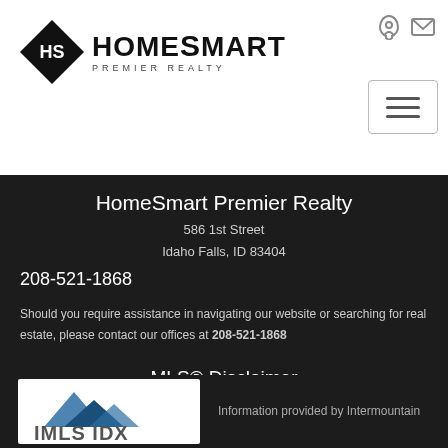[Figure (logo): HomeSmart Premier Realty logo with diamond shape and text]
HomeSmart Premier Realty
586 1st Street
Idaho Falls, ID 83404
208-521-1868
Should you require assistance in navigating our website or searching for real estate, please contact our offices at 208-521-1868
MLS® Disclaimer
[Figure (logo): IMLS IDX logo — Intermountain MLS IDX logo with mountain graphic]
Information provided by Intermountain